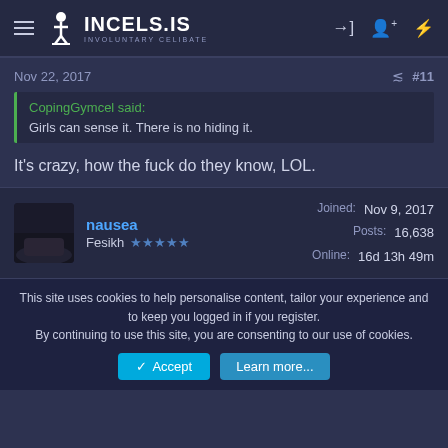INCELS.IS INVOLUNTARY CELIBATE
Nov 22, 2017  #11
CopingGymcel said:
Girls can sense it. There is no hiding it.
It's crazy, how the fuck do they know, LOL.
nausea  Fesikh  ★★★★★  Joined: Nov 9, 2017  Posts: 16,638  Online: 16d 13h 49m
This site uses cookies to help personalise content, tailor your experience and to keep you logged in if you register.
By continuing to use this site, you are consenting to our use of cookies.